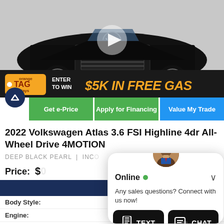[Figure (photo): Black Volkswagen Atlas SUV front view with play button overlay, orange TAG days promotion banner at bottom reading ENTER TO WIN $5K IN FREE GAS]
Get e-Price
Apply for Financing
Value My Trade
2022 Volkswagen Atlas 3.6 FSI Highline 4dr All-Wheel Drive 4MOTION
DEEP BLACK PEARL | INC...
Price: $0
Body Style:
Engine:
[Figure (screenshot): Live chat widget overlay showing agent photo, Online status with green dot, message 'Any sales questions? Connect with us now!' and two buttons: TEXT and CHAT]